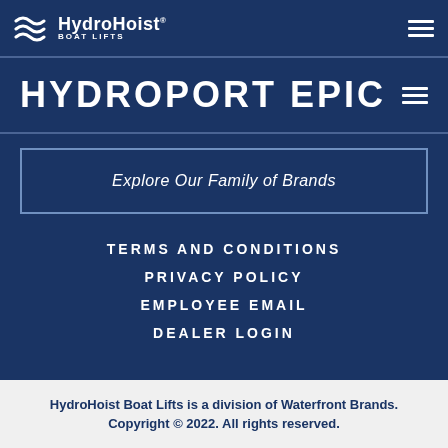HydroHoist BOAT LIFTS
HYDROPORT EPIC
Explore Our Family of Brands
TERMS AND CONDITIONS
PRIVACY POLICY
EMPLOYEE EMAIL
DEALER LOGIN
HydroHoist Boat Lifts is a division of Waterfront Brands. Copyright © 2022. All rights reserved.